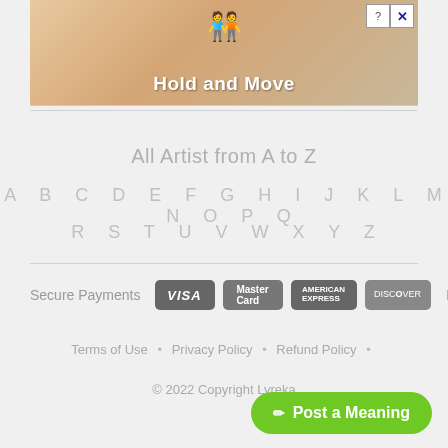[Figure (screenshot): Advertisement banner showing 'Hold and Move' game with blue character figures on a sandy/wood background, with close button in top-right corner]
All Artist from A to Z
A B C D E F G H I J K L M N O P Q
R S T U V W X Y Z
[Figure (infographic): Secure Payments logos: VISA, MasterCard, American Express, Discover, PayPal]
Terms of Use • Privacy Policy • Refund Policy •
© 2022 Copyright Lyreka